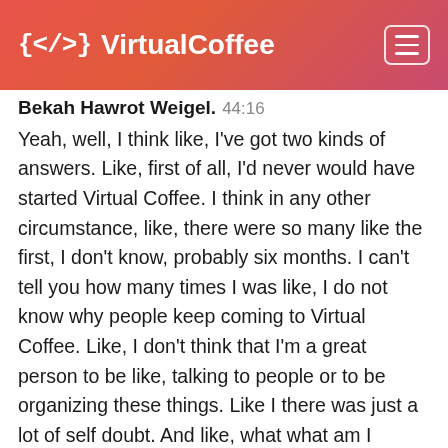{</>) VirtualCoffee
Bekah Hawrot Weigel: 44:16
Yeah, well, I think like, I've got two kinds of answers. Like, first of all, I'd never would have started Virtual Coffee. I think in any other circumstance, like, there were so many like the first, I don't know, probably six months. I can't tell you how many times I was like, I do not know why people keep coming to Virtual Coffee. Like, I don't think that I'm a great person to be like, talking to people or to be organizing these things. Like I there was just a lot of self doubt. And like, what what am I doing? There are certainly people here that could be doing this much better than I am and maybe I should just be like, "Hey, why don't